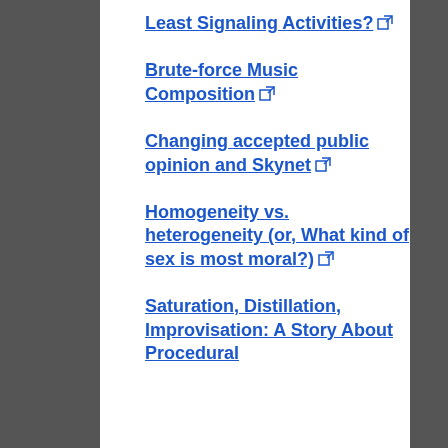Least Signaling Activities?
Brute-force Music Composition
Changing accepted public opinion and Skynet
Homogeneity vs. heterogeneity (or, What kind of sex is most moral?)
Saturation, Distillation, Improvisation: A Story About Procedural